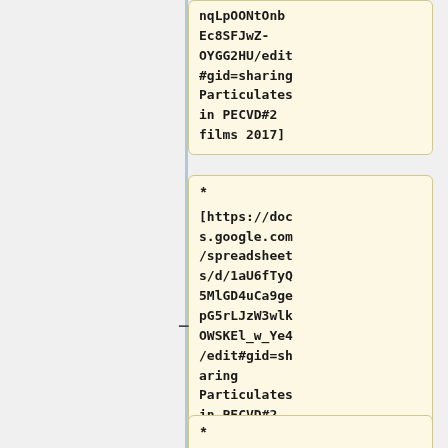nqLpOONtOnbEc8SFJwZ-OYGG2HU/edit#gid=sharing Particulates in PECVD#2 films 2017]
* [https://docs.google.com/spreadsheets/d/1aU6fTyQ5MlGD4uCa9gepG5rLJzW3wlkOWSKEl_w_Ye4/edit#gid=sharing Particulates in PECVD#2 films 2018]
*